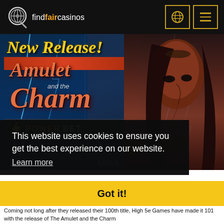findfaircasinos
[Figure (illustration): New Release! Amulet and the Charm Power Bet slot game promotional banner with a mystical woman and lightning effects. EGT Games branding visible.]
This website uses cookies to ensure you get the best experience on our website.
Learn more
Got it!
Coming not long after they released their 100th title, High 5e Games have made it 101 with the release of The Amulet and the Charm